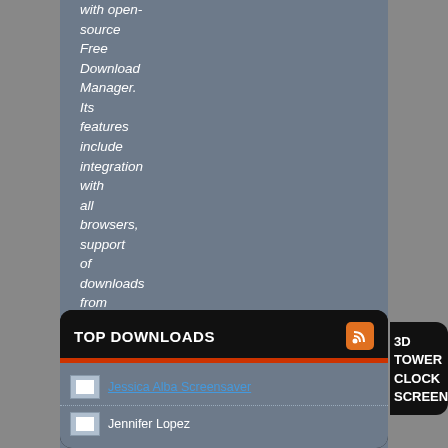with open-source Free Download Manager. Its features include integration with all browsers, support of downloads from RapidShare, BitTorrent support, adjusting traffic usage, resuming broken downloads. Free...
[Figure (screenshot): Download button with orange icon and white DOWNLOAD label]
TOP DOWNLOADS
[Figure (screenshot): RSS feed icon (orange square with RSS symbol)]
3D TOWER CLOCK SCREENSHOT
Jessica Alba Screensaver
Jennifer Lopez